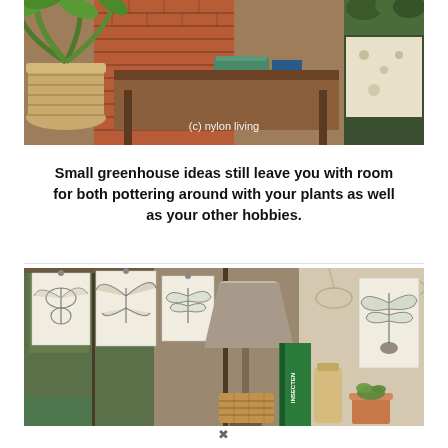[Figure (photo): Interior of a small greenhouse or garden room: large tropical plant in a woven basket on the left, a wooden desk/table in the center with a green chair and books, brick fireplace surround, potted plants on an upper shelf. Watermark reads '(c) nylon living'.]
Small greenhouse ideas still leave you with room for both pottering around with your plants as well as your other hobbies.
[Figure (photo): Interior of a small greenhouse with botanical insect/butterfly prints hung on display, a taupe lamp shade, a book titled 'INSECTEN', woven baskets, a small terracotta pot with succulents, and framed botanical illustrations of butterflies, dragonflies, and beetles.]